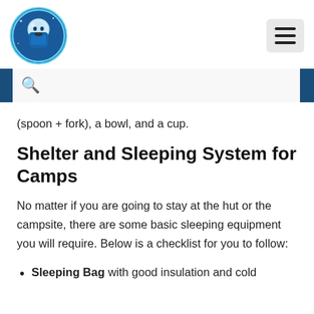Logo and navigation menu
(spoon + fork), a bowl, and a cup.
Shelter and Sleeping System for Camps
No matter if you are going to stay at the hut or the campsite, there are some basic sleeping equipment you will require. Below is a checklist for you to follow:
Sleeping Bag with good insulation and cold